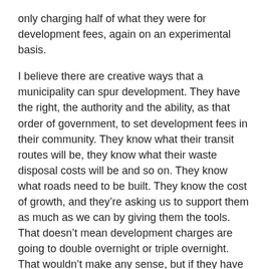only charging half of what they were for development fees, again on an experimental basis.
I believe there are creative ways that a municipality can spur development. They have the right, the authority and the ability, as that order of government, to set development fees in their community. They know what their transit routes will be, they know what their waste disposal costs will be and so on. They know what roads need to be built. They know the cost of growth, and they're asking us to support them as much as we can by giving them the tools. That doesn't mean development charges are going to double overnight or triple overnight. That wouldn't make any sense, but if they have to go up a bit, then they have to go up a bit, and growth should pay for growth. Having said that, I shall be voting for the section.
The Vice-Chair (Mr. Jagmeet Singh): Any further comments or debate?